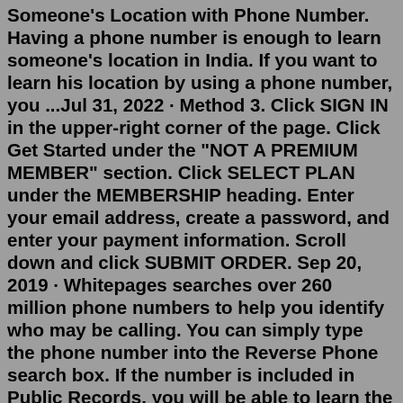Someone's Location with Phone Number. Having a phone number is enough to learn someone's location in India. If you want to learn his location by using a phone number, you ...Jul 31, 2022 · Method 3. Click SIGN IN in the upper-right corner of the page. Click Get Started under the "NOT A PREMIUM MEMBER" section. Click SELECT PLAN under the MEMBERSHIP heading. Enter your email address, create a password, and enter your payment information. Scroll down and click SUBMIT ORDER. Sep 20, 2019 · Whitepages searches over 260 million phone numbers to help you identify who may be calling. You can simply type the phone number into the Reverse Phone search box. If the number is included in Public Records, you will be able to learn the owner's name and other details. The search results will also tell you if the number is spam or if there ... To get the Owner name, location, City, Address of Mobile number in Pakistan for any Province, you have to enter the 10 digit mobile phone number in the search box provided in this page.